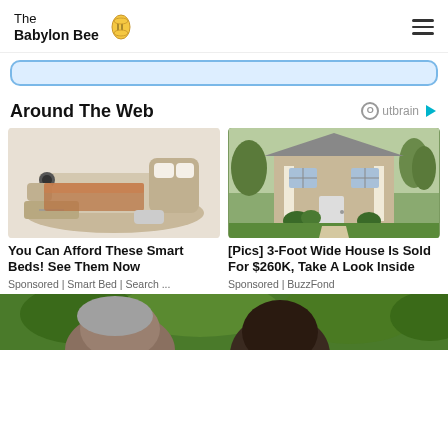The Babylon Bee
[Figure (screenshot): Light blue rounded search bar area]
Around The Web
[Figure (logo): Outbrain logo with play icon]
[Figure (photo): Smart bed with multiple features including speakers, drawers, and reclining sections]
You Can Afford These Smart Beds! See Them Now
Sponsored | Smart Bed | Search ...
[Figure (photo): Two-story beige brick house with white columns and green lawn]
[Pics] 3-Foot Wide House Is Sold For $260K, Take A Look Inside
Sponsored | BuzzFond
[Figure (photo): Partial view of people's heads outdoors with green trees in background]